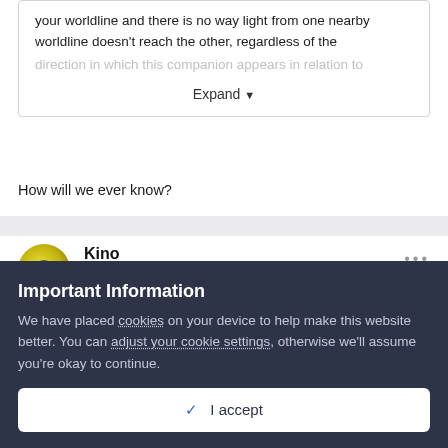your worldline and there is no way light from one nearby worldline doesn't reach the other, regardless of the direction in which this companion appears in relation to
Expand ▾
How will we ever know?
Kino
Posted March 14, 2021
One of the easier visualisations is, IMO, a Kruskal diagram. Null
Important Information
We have placed cookies on your device to help make this website better. You can adjust your cookie settings, otherwise we'll assume you're okay to continue.
✓  I accept